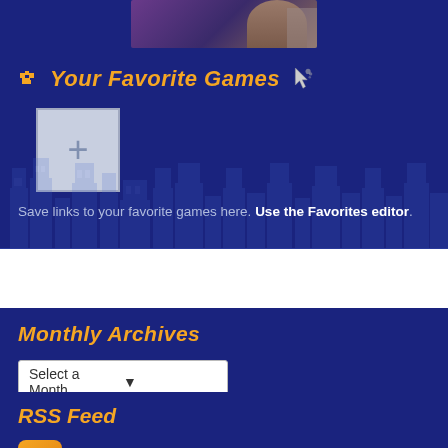[Figure (screenshot): Partial game banner image at top]
Your Favorite Games
[Figure (other): Add button (plus sign) for adding favorite games]
Save links to your favorite games here. Use the Favorites editor.
Monthly Archives
Select a Month...
RSS Feed
Subscribe to our feed